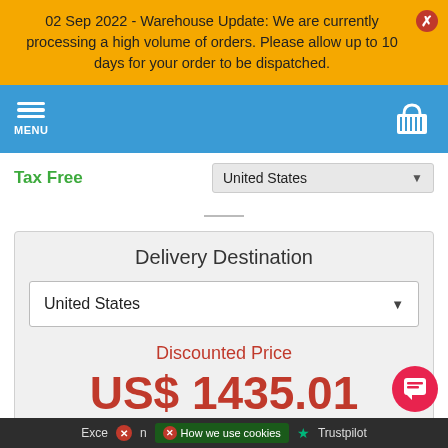02 Sep 2022 - Warehouse Update: We are currently processing a high volume of orders. Please allow up to 10 days for your order to be dispatched.
MENU
Tax Free
United States
Delivery Destination
United States
Discounted Price
US$ 1435.01
Add to Basket »
Exceln  How we use cookies  ★ Trustpilot